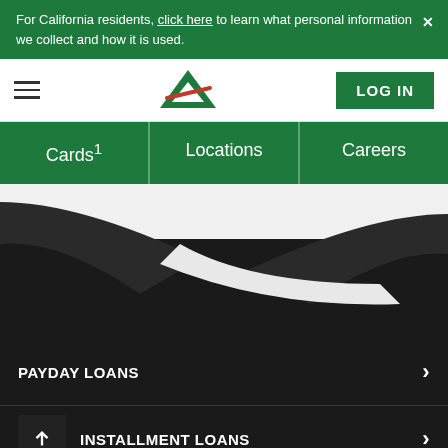For California residents, click here to learn what personal information we collect and how it is used.
[Figure (logo): Advance America logo — green triangle A with red diagonal slash]
LOG IN
Cards1
Locations
Careers
[Figure (illustration): Dark background with white wave/swoosh shape at top]
PAYDAY LOANS
INSTALLMENT LOANS
TITLE LOANS